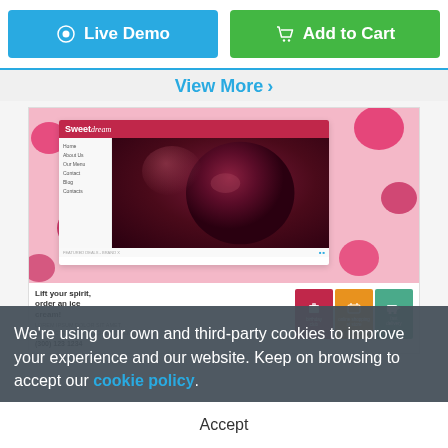[Figure (screenshot): Two buttons: blue 'Live Demo' with eye icon and green 'Add to Cart' with cart icon]
View More >
[Figure (screenshot): Sweet Dream ice cream website template screenshot showing a pink/red themed ice cream shop website with navigation menu, large raspberry ice cream photo, and three feature boxes for birthday club, online shopping, and fast delivery]
We're using our own and third-party cookies to improve your experience and our website. Keep on browsing to accept our cookie policy.
Accept